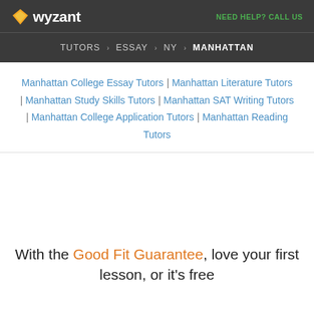wyzant — NEED HELP? CALL US
TUTORS > ESSAY > NY > MANHATTAN
Manhattan College Essay Tutors | Manhattan Literature Tutors | Manhattan Study Skills Tutors | Manhattan SAT Writing Tutors | Manhattan College Application Tutors | Manhattan Reading Tutors
With the Good Fit Guarantee, love your first lesson, or it's free